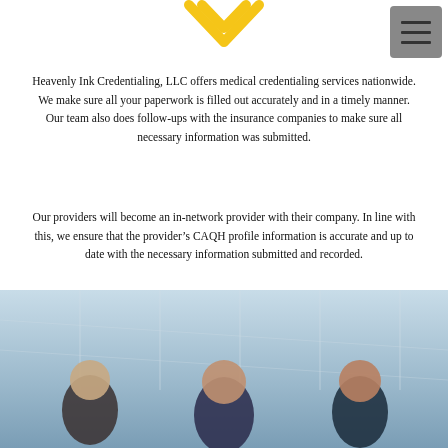[Figure (logo): Yellow/gold chevron/checkmark logo at top center]
[Figure (other): Gray hamburger menu button top right]
Heavenly Ink Credentialing, LLC offers medical credentialing services nationwide. We make sure all your paperwork is filled out accurately and in a timely manner. Our team also does follow-ups with the insurance companies to make sure all necessary information was submitted.
Our providers will become an in-network provider with their company. In line with this, we ensure that the provider’s CAQH profile information is accurate and up to date with the necessary information submitted and recorded.
[Figure (photo): Group photo of medical professionals in business attire in front of a glass building, three people visible from chest up at bottom of page]